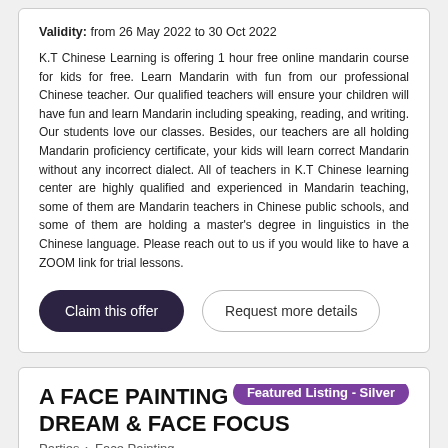Validity: from 26 May 2022 to 30 Oct 2022
K.T Chinese Learning is offering 1 hour free online mandarin course for kids for free. Learn Mandarin with fun from our professional Chinese teacher. Our qualified teachers will ensure your children will have fun and learn Mandarin including speaking, reading, and writing. Our students love our classes. Besides, our teachers are all holding Mandarin proficiency certificate, your kids will learn correct Mandarin without any incorrect dialect. All of teachers in K.T Chinese learning center are highly qualified and experienced in Mandarin teaching, some of them are Mandarin teachers in Chinese public schools, and some of them are holding a master's degree in linguistics in the Chinese language. Please reach out to us if you would like to have a ZOOM link for trial lessons.
Claim this offer
Request more details
A FACE PAINTING DREAM & FACE FOCUS
Parties > Face Painting
Featured Listing - Silver